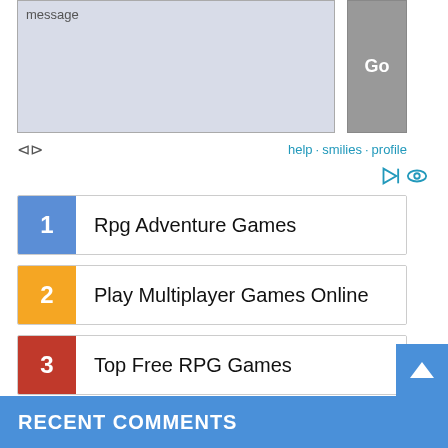[Figure (screenshot): Message input textarea with placeholder text 'message' and a grey 'Go' button on the right]
help · smilies · profile
1  Rpg Adventure Games
2  Play Multiplayer Games Online
3  Top Free RPG Games
4  Best Memory Games
5  Fun Games Online
RECENT COMMENTS